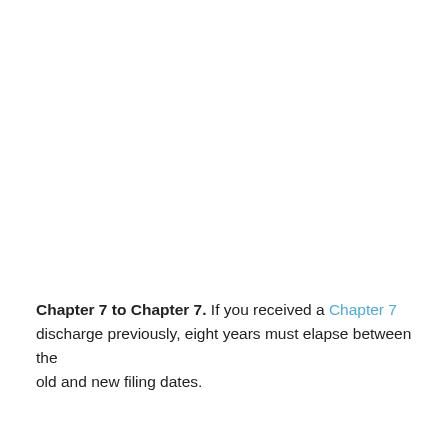Chapter 7 to Chapter 7. If you received a Chapter 7 discharge previously, eight years must elapse between the old and new filing dates.